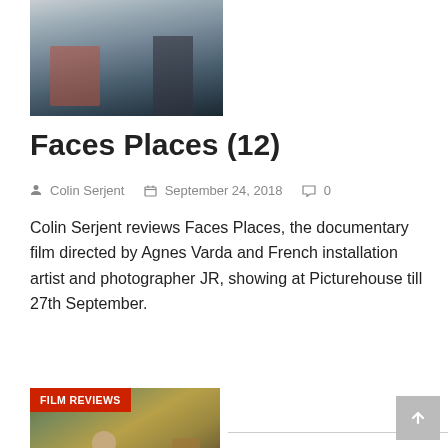[Figure (photo): Partially visible photo of people outdoors near a wall, appears to be a street scene]
Faces Places (12)
Colin Serjent   September 24, 2018   0
Colin Serjent reviews Faces Places, the documentary film directed by Agnes Varda and French installation artist and photographer JR, showing at Picturehouse till 27th September.
[Figure (photo): Photo of an older man speaking or gesturing, with musicians including a guitarist visible in the background, overlaid with a red FILM REVIEWS badge]
FILM REVIEWS